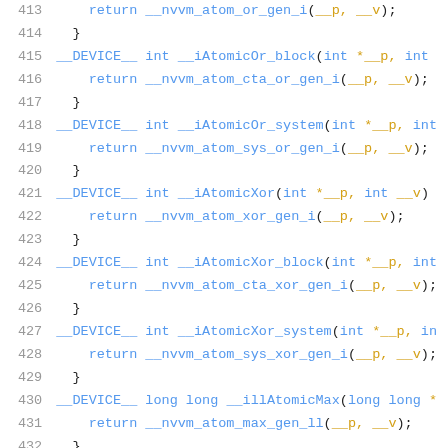[Figure (screenshot): Source code listing showing CUDA device atomic operation functions in C++, lines 413-434, with syntax highlighting: line numbers in gray, keywords and function names in blue, code body in gold/yellow on white background.]